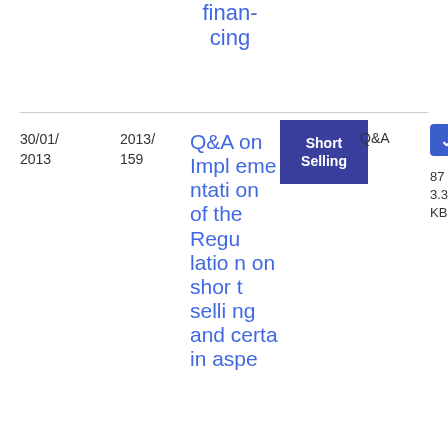financing
| Date | Ref | Title | Tag | Type | File |
| --- | --- | --- | --- | --- | --- |
| 30/01/2013 | 2013/159 | Q&A on Implementation of the Regulation on short selling and certain aspe | Short Selling | Q&A | PDF 87 3.32 KB |